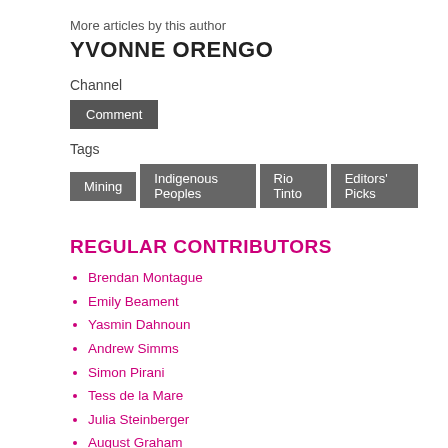More articles by this author
YVONNE ORENGO
Channel
Comment
Tags
Mining   Indigenous Peoples   Rio Tinto   Editors' Picks
REGULAR CONTRIBUTORS
Brendan Montague
Emily Beament
Yasmin Dahnoun
Andrew Simms
Simon Pirani
Tess de la Mare
Julia Steinberger
August Graham
Neil Lancefield